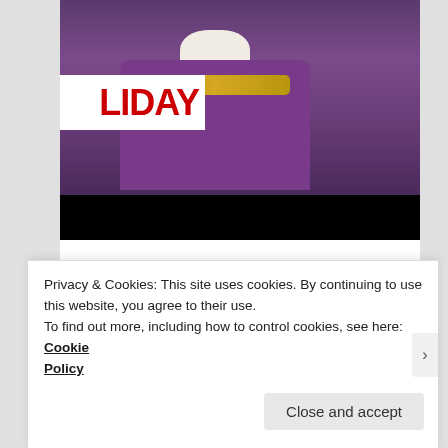[Figure (photo): Partial image of a person in purple robes with a white collar and gold embroidery, overlaid with a white badge showing text 'LIDAY' in red, and a black bar at the bottom.]
Continue reading →
Posted in 2000s | Tagged 1980s, bullies, Chris Rock, Everybody Hates Chris, teenagers, the walking dead, Tyler James Williams, Vincent Martella | Leave a comment
Privacy & Cookies: This site uses cookies. By continuing to use this website, you agree to their use.
To find out more, including how to control cookies, see here: Cookie Policy